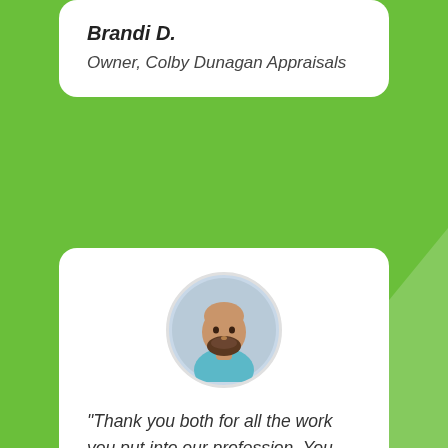Brandi D.
Owner, Colby Dunagan Appraisals
[Figure (photo): Circular headshot of a bald man with a beard wearing a light blue shirt]
“Thank you both for all the work you put into our profession. You guys are true trailblazers and I personally couldn’t have produced the multiple seven figures over